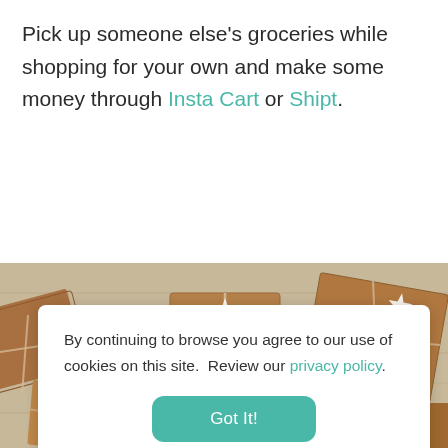Pick up someone else's groceries while shopping for your own and make some money through Insta Cart or Shipt.
C h
[Figure (photo): Photo of brown kraft paper wrapped gift boxes with twine bows and white star decorations, arranged on a white wooden surface]
By continuing to browse you agree to our use of cookies on this site.  Review our privacy policy.